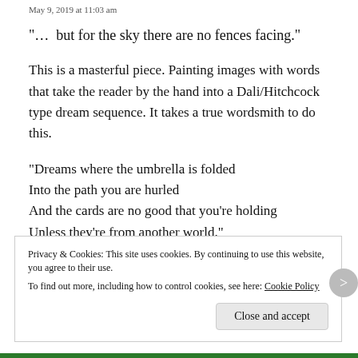May 9, 2019 at 11:03 am
“…  but for the sky there are no fences facing.”
This is a masterful piece. Painting images with words that take the reader by the hand into a Dali/Hitchcock type dream sequence. It takes a true wordsmith to do this.
“Dreams where the umbrella is folded
Into the path you are hurled
And the cards are no good that you’re holding
Unless they’re from another world.”
~ Bob Dylan
Privacy & Cookies: This site uses cookies. By continuing to use this website, you agree to their use.
To find out more, including how to control cookies, see here: Cookie Policy